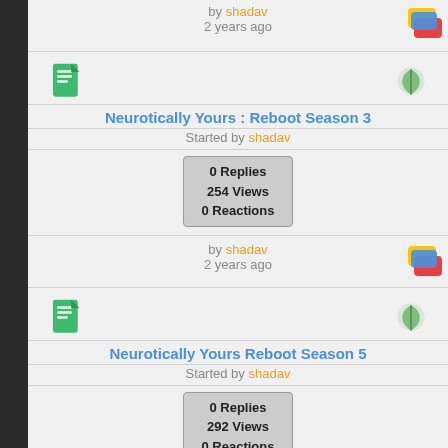by shadav
2 years ago
[Figure (illustration): Green document icon on left, leaf/plant icon on right]
Neurotically Yours : Reboot Season 3
Started by shadav
0 Replies
254 Views
0 Reactions
by shadav
2 years ago
[Figure (illustration): Green document icon on left, leaf/plant icon on right]
Neurotically Yours Reboot Season 5
Started by shadav
0 Replies
292 Views
0 Reactions
by shadav
2 years ago
[Figure (screenshot): Bottom row with green document icon, Facebook, Twitter, WhatsApp, and share/add social media buttons, leaf icon on right]